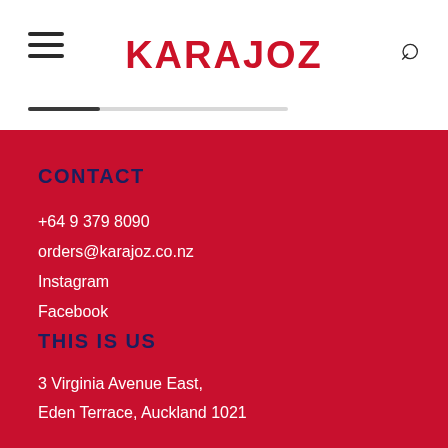KARAJOZ
CONTACT
+64 9 379 8090
orders@karajoz.co.nz
Instagram
Facebook
THIS IS US
3 Virginia Avenue East,
Eden Terrace, Auckland 1021